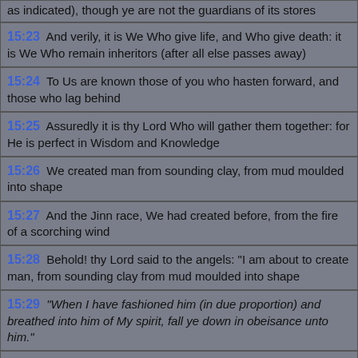15:23 And verily, it is We Who give life, and Who give death: it is We Who remain inheritors (after all else passes away)
15:24 To Us are known those of you who hasten forward, and those who lag behind
15:25 Assuredly it is thy Lord Who will gather them together: for He is perfect in Wisdom and Knowledge
15:26 We created man from sounding clay, from mud moulded into shape
15:27 And the Jinn race, We had created before, from the fire of a scorching wind
15:28 Behold! thy Lord said to the angels: "I am about to create man, from sounding clay from mud moulded into shape
15:29 "When I have fashioned him (in due proportion) and breathed into him of My spirit, fall ye down in obeisance unto him."
15:30 So the angels prostrated themselves, all of them together
15:31 Not so Iblis: he refused to be among those who prostrated themselves
15:32 (God) said: "O Iblis! what is your reason for not being